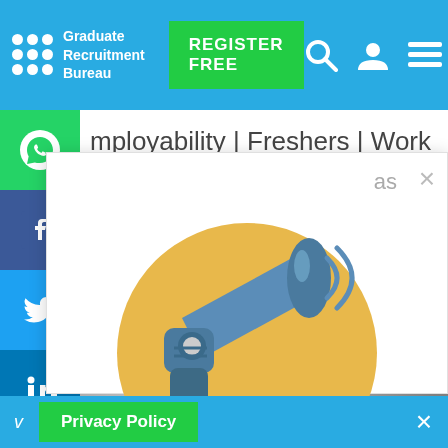[Figure (screenshot): Graduate Recruitment Bureau website screenshot with navigation bar, social share sidebar, article content partially obscured by a popup modal containing a megaphone illustration, and a Privacy Policy bar at the bottom]
Graduate Recruitment Bureau | REGISTER FREE
mployability | Freshers | Work
third year Historian on the minimum loan, my bank ount was breaking my heart every time I logged onto my
as
!
of employers in o hire students ven't already ool, now is the time...
YOUR CV
v  Privacy Policy  ×